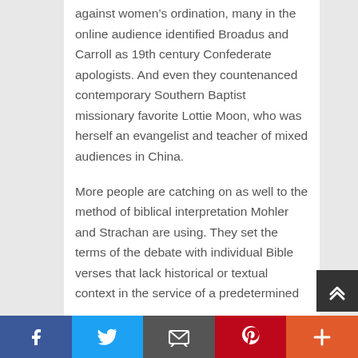against women's ordination, many in the online audience identified Broadus and Carroll as 19th century Confederate apologists. And even they countenanced contemporary Southern Baptist missionary favorite Lottie Moon, who was herself an evangelist and teacher of mixed audiences in China.

More people are catching on as well to the method of biblical interpretation Mohler and Strachan are using. They set the terms of the debate with individual Bible verses that lack historical or textual context in the service of a predetermined